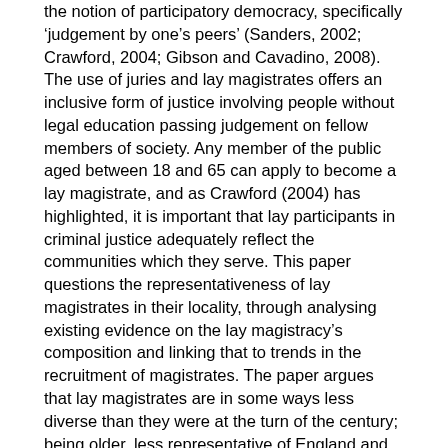the notion of participatory democracy, specifically 'judgement by one's peers' (Sanders, 2002; Crawford, 2004; Gibson and Cavadino, 2008). The use of juries and lay magistrates offers an inclusive form of justice involving people without legal education passing judgement on fellow members of society. Any member of the public aged between 18 and 65 can apply to become a lay magistrate, and as Crawford (2004) has highlighted, it is important that lay participants in criminal justice adequately reflect the communities which they serve. This paper questions the representativeness of lay magistrates in their locality, through analysing existing evidence on the lay magistracy's composition and linking that to trends in the recruitment of magistrates. The paper argues that lay magistrates are in some ways less diverse than they were at the turn of the century; being older, less representative of England and Wales' BAME